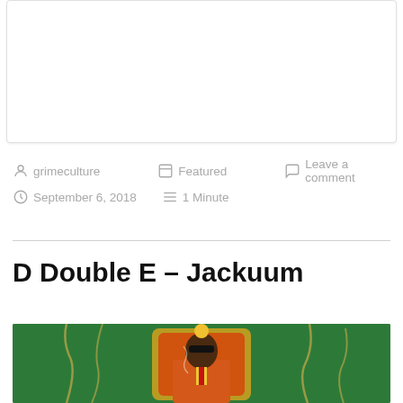[Figure (other): White card/box area at top of page]
grimeculture   Featured   Leave a comment
September 6, 2018   1 Minute
D Double E – Jackuum
[Figure (illustration): Illustrated artwork showing a man in an orange suit seated on an ornate throne, wearing sunglasses, on a green background with golden decorative elements]